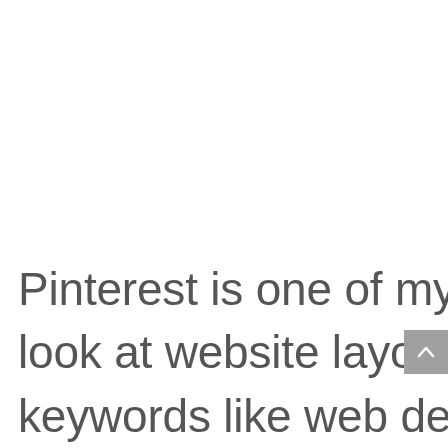Pinterest is one of my favorite places to look at website layouts. Just type in keywords like web design, website layout, or similar and you'll see more than you need. You can even look for colors. It will give you a few